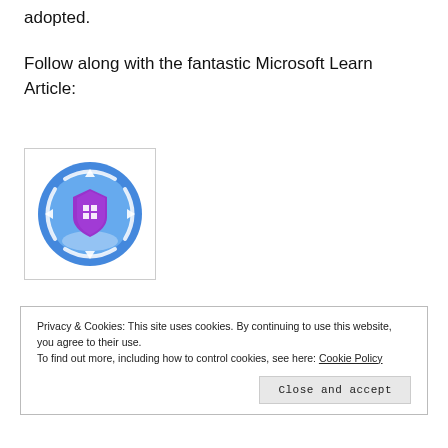adopted.
Follow along with the fantastic Microsoft Learn Article:
[Figure (illustration): Microsoft security/update icon: a blue circle with circular arrows and a purple shield with a Microsoft logo in the center]
Privacy & Cookies: This site uses cookies. By continuing to use this website, you agree to their use.
To find out more, including how to control cookies, see here: Cookie Policy
Close and accept